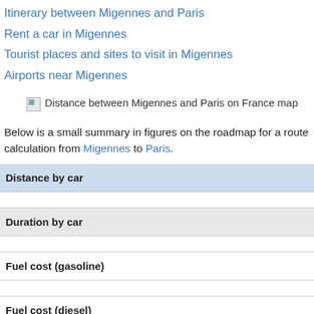Itinerary between Migennes and Paris
Rent a car in Migennes
Tourist places and sites to visit in Migennes
Airports near Migennes
[Figure (other): Broken image placeholder for map: Distance between Migennes and Paris on France map]
Below is a small summary in figures on the roadmap for a route calculation from Migennes to Paris.
| Distance by car |
| Duration by car |
| Fuel cost (gasoline) |
| Fuel cost (diesel) |